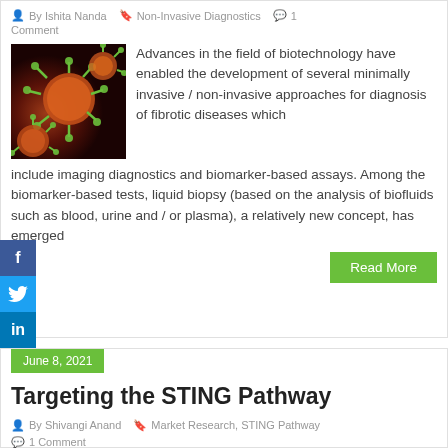By Ishita Nanda  Non-Invasive Diagnostics  1 Comment
[Figure (photo): Microscopic image of orange/red virus particles on dark background]
Advances in the field of biotechnology have enabled the development of several minimally invasive / non-invasive approaches for diagnosis of fibrotic diseases which include imaging diagnostics and biomarker-based assays. Among the biomarker-based tests, liquid biopsy (based on the analysis of biofluids such as blood, urine and / or plasma), a relatively new concept, has emerged
Read More
June 8, 2021
Targeting the STING Pathway
By Shivangi Anand  Market Research, STING Pathway
1 Comment